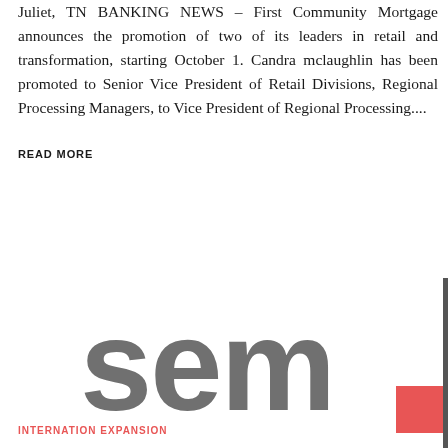Juliet, TN BANKING NEWS – First Community Mortgage announces the promotion of two of its leaders in retail and transformation, starting October 1. Candra mclaughlin has been promoted to Senior Vice President of Retail Divisions, Regional Processing Managers, to Vice President of Regional Processing....
READ MORE
[Figure (logo): Large gray bold text reading 'sem' (partial logo, cropped at right edge)]
INTERNATION EXPANSION